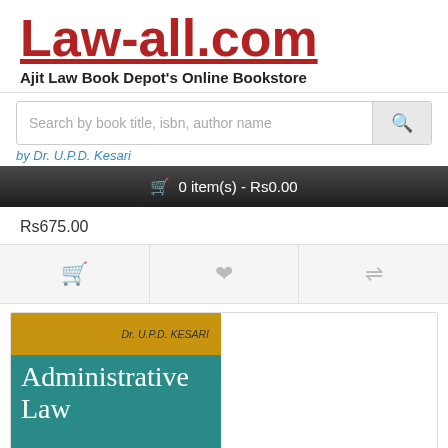Law-all.com
Ajit Law Book Depot's Online Bookstore
Search by book title, isbn, author name
by Dr. U.P.D. Kesari
0 item(s) - Rs0.00
Rs675.00
[Figure (screenshot): Book cover of Administrative Law by Dr. U.P.D. KESARI, with a yellow top section showing author name and a teal bottom section with the book title in white]
Dr. U.P.D. KESARI
Administrative Law